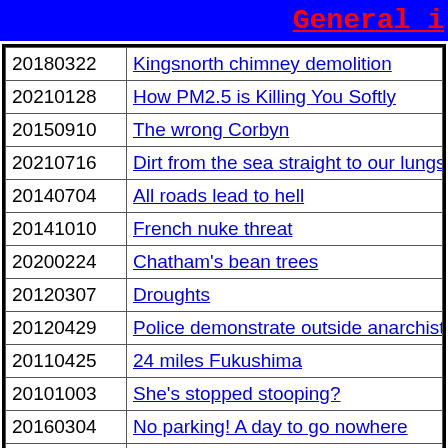General i
| Date | Title |
| --- | --- |
| 20180322 | Kingsnorth chimney demolition |
| 20210128 | How PM2.5 is Killing You Softly |
| 20150910 | The wrong Corbyn |
| 20210716 | Dirt from the sea straight to our lungs |
| 20140704 | All roads lead to hell |
| 20141010 | French nuke threat |
| 20200224 | Chatham's bean trees |
| 20120307 | Droughts |
| 20120429 | Police demonstrate outside anarchist film show |
| 20110425 | 24 miles Fukushima |
| 20101003 | She's stopped stooping? |
| 20160304 | No parking! A day to go nowhere |
| 20091223 | Did I dream it?: was comet scam real or fake? |